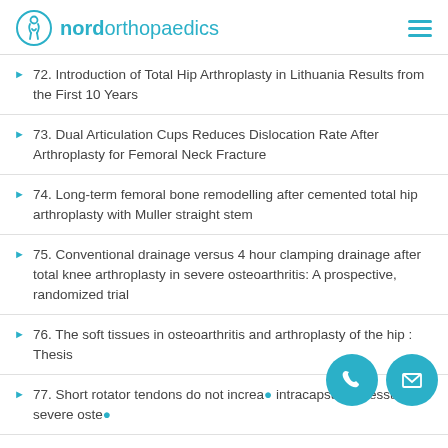nordorthopaedics
72. Introduction of Total Hip Arthroplasty in Lithuania Results from the First 10 Years
73. Dual Articulation Cups Reduces Dislocation Rate After Arthroplasty for Femoral Neck Fracture
74. Long-term femoral bone remodelling after cemented total hip arthroplasty with Muller straight stem
75. Conventional drainage versus 4 hour clamping drainage after total knee arthroplasty in severe osteoarthritis: A prospective, randomized trial
76. The soft tissues in osteoarthritis and arthroplasty of the hip : Thesis
77. Short rotator tendons do not increase intracapsular pressure in severe osteo...
78. Introduction of total knee arthroplasty in